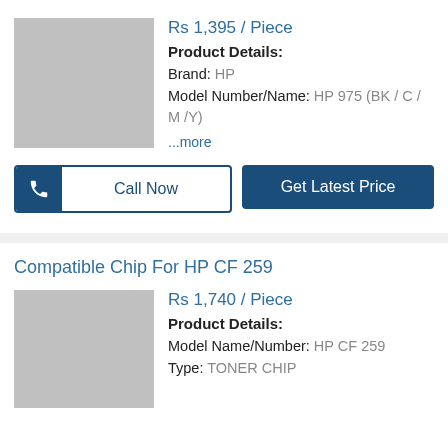Rs 1,395 / Piece
Product Details: Brand: HP Model Number/Name: HP 975 (BK / C / M /Y)
...more
[Figure (other): Gray placeholder product image]
Call Now
Get Latest Price
Compatible Chip For HP CF 259
[Figure (other): Gray placeholder product image]
Rs 1,740 / Piece
Product Details: Model Name/Number: HP CF 259 Type: TONER CHIP